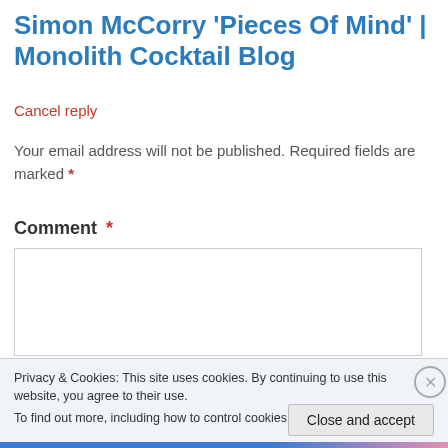Simon McCorry 'Pieces Of Mind' | Monolith Cocktail Blog
Cancel reply
Your email address will not be published. Required fields are marked *
Comment *
Privacy & Cookies: This site uses cookies. By continuing to use this website, you agree to their use.
To find out more, including how to control cookies, see here: Cookie Policy
Close and accept